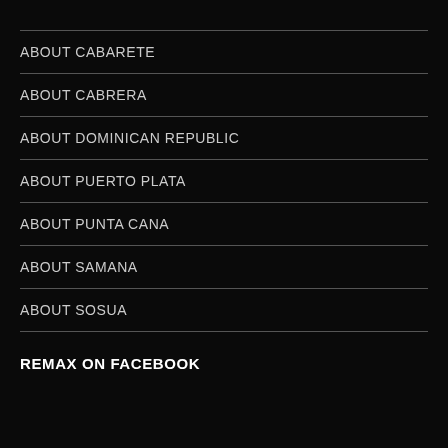ABOUT CABARETE
ABOUT CABRERA
ABOUT DOMINICAN REPUBLIC
ABOUT PUERTO PLATA
ABOUT PUNTA CANA
ABOUT SAMANA
ABOUT SOSUA
REMAX ON FACEBOOK